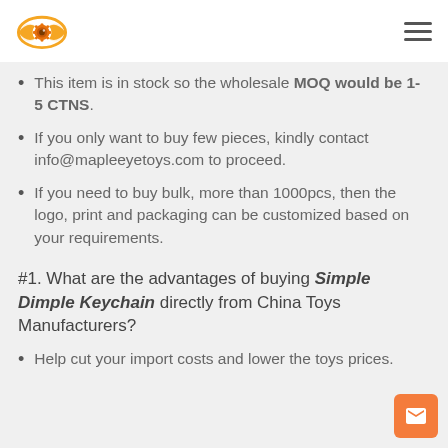Maple Eye Toys logo and navigation
This item is in stock so the wholesale MOQ would be 1-5 CTNS.
If you only want to buy few pieces, kindly contact info@mapleeyetoys.com to proceed.
If you need to buy bulk, more than 1000pcs, then the logo, print and packaging can be customized based on your requirements.
#1. What are the advantages of buying Simple Dimple Keychain directly from China Toys Manufacturers?
Help cut your import costs and lower the toys prices.